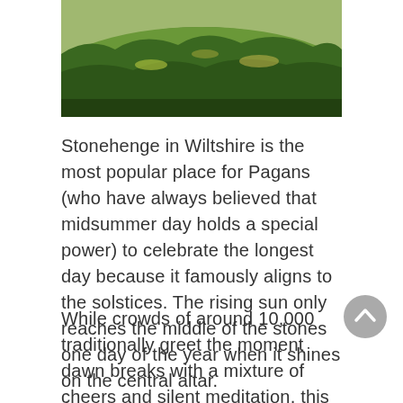[Figure (photo): A close-up photograph of a grassy hill or mound, showing lush green grass with some yellow-brown patches, taken from a low angle showing the curved top of the mound against a bright sky.]
Stonehenge in Wiltshire is the most popular place for Pagans (who have always believed that midsummer day holds a special power) to celebrate the longest day because it famously aligns to the solstices. The rising sun only reaches the middle of the stones one day of the year when it shines on the central altar.
While crowds of around 10,000 traditionally greet the moment dawn breaks with a mixture of cheers and silent meditation, this year the English Heritage have been forced to cancel